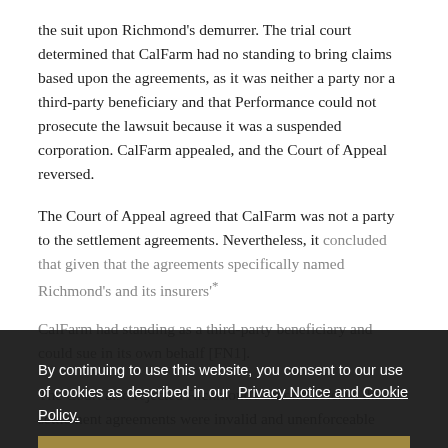the suit upon Richmond's demurrer. The trial court determined that CalFarm had no standing to bring claims based upon the agreements, as it was neither a party nor a third-party beneficiary and that Performance could not prosecute the lawsuit because it was a suspended corporation. CalFarm appealed, and the Court of Appeal reversed.
The Court of Appeal agreed that CalFarm was not a party to the settlement agreements. Nevertheless, it concluded that given that the agreements specifically named Richmond's and its insurers' [partially obscured] CalFarm had standing as a third-party beneficiary and could sue in its own behalf [FN1].
By continuing to use this website, you consent to our use of cookies as described in our Privacy Notice and Cookie Policy.
I Agree
The Court also rejected Richmond's second defense that the settlement agreements were invalid and unenforceable because they were not signed by